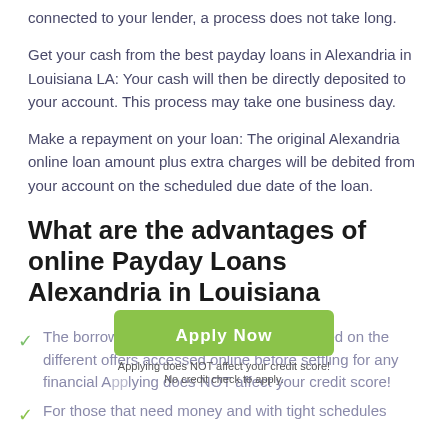connected to your lender, a process does not take long.
Get your cash from the best payday loans in Alexandria in Louisiana LA: Your cash will then be directly deposited to your account. This process may take one business day.
Make a repayment on your loan: The original Alexandria online loan amount plus extra charges will be debited from your account on the scheduled due date of the loan.
What are the advantages of online Payday Loans Alexandria in Louisiana
The borrowers can make comparisons based on the different offers accessed online before settling for any financial...
[Figure (other): Green Apply Now button overlay with text 'Apply Now', 'Applying does NOT affect your credit score!', 'No credit check to apply.']
For those that need money and with tight schedules...